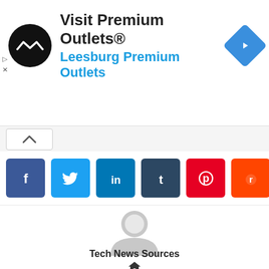[Figure (infographic): Advertisement banner for Visit Premium Outlets® featuring a black circular logo with a double arrow, text 'Visit Premium Outlets®' in bold and 'Leesburg Premium Outlets' in blue, and a blue diamond navigation icon on the right.]
[Figure (infographic): Collapse/expand button bar with an upward caret chevron button on a light gray background.]
[Figure (infographic): Social media share buttons row: Facebook (blue), Twitter (light blue), LinkedIn (dark blue), Tumblr (dark navy), Pinterest (red), Reddit (orange).]
[Figure (illustration): Generic user avatar icon — a gray circular silhouette of a person's head and shoulders on a white background.]
Tech News Sources
[Figure (other): Small house/home icon symbol in dark gray.]